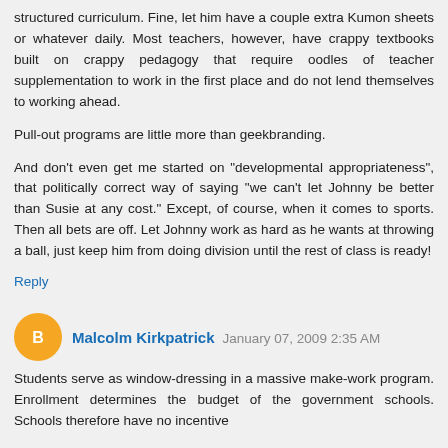structured curriculum. Fine, let him have a couple extra Kumon sheets or whatever daily. Most teachers, however, have crappy textbooks built on crappy pedagogy that require oodles of teacher supplementation to work in the first place and do not lend themselves to working ahead.
Pull-out programs are little more than geekbranding.
And don't even get me started on "developmental appropriateness", that politically correct way of saying "we can't let Johnny be better than Susie at any cost." Except, of course, when it comes to sports. Then all bets are off. Let Johnny work as hard as he wants at throwing a ball, just keep him from doing division until the rest of class is ready!
Reply
Malcolm Kirkpatrick  January 07, 2009 2:35 AM
Students serve as window-dressing in a massive make-work program. Enrollment determines the budget of the government schools. Schools therefore have no incentive